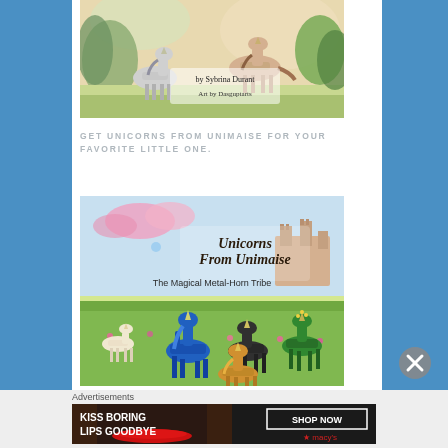[Figure (illustration): Book cover showing two unicorns in a colorful illustrated landscape, with text 'by Sybrina Durant' and 'Art by Dasguptarts']
GET UNICORNS FROM UNIMAISE FOR YOUR FAVORITE LITTLE ONE.
[Figure (illustration): Book cover for 'Unicorns From Unimaise: The Magical Metal-Horn Tribe' showing colorful illustrated unicorns in a meadow with a castle in the background]
Advertisements
[Figure (illustration): Macy's advertisement banner: 'KISS BORING LIPS GOODBYE' with a woman's face and red lips, SHOP NOW button and Macy's star logo]